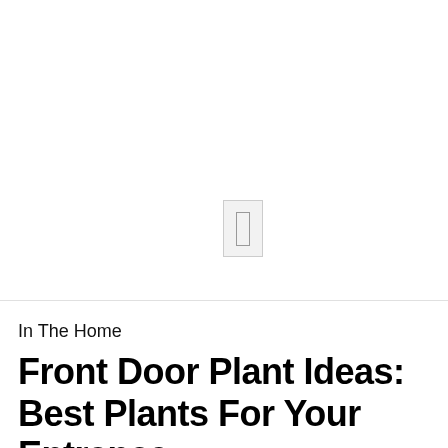[Figure (photo): Large white/blank image area at top of page with a small placeholder icon (light gray rectangle with border) centered in the lower portion of the image area.]
In The Home
Front Door Plant Ideas: Best Plants For Your Entrance